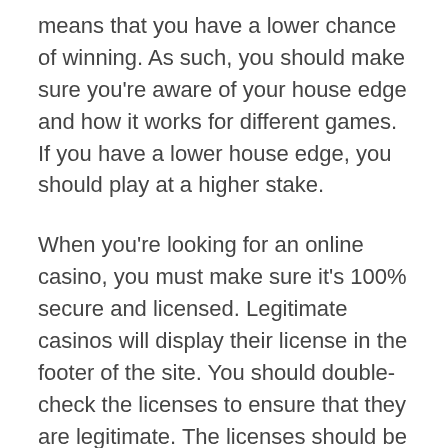means that you have a lower chance of winning. As such, you should make sure you're aware of your house edge and how it works for different games. If you have a lower house edge, you should play at a higher stake.
When you're looking for an online casino, you must make sure it's 100% secure and licensed. Legitimate casinos will display their license in the footer of the site. You should double-check the licenses to ensure that they are legitimate. The licenses should be internationally recognized. You can use a secure browser to protect your credit card information.
Unibet is a reputable casino online with an